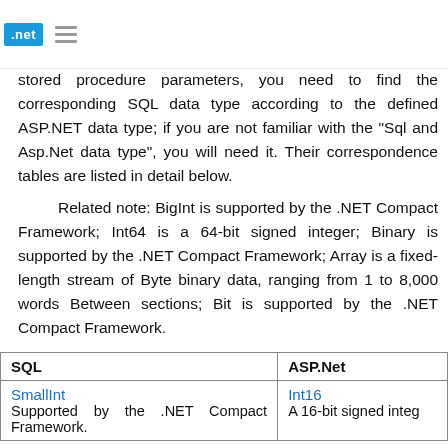.net
stored procedure parameters, you need to find the corresponding SQL data type according to the defined ASP.NET data type; if you are not familiar with the "Sql and Asp.Net data type", you will need it. Their correspondence tables are listed in detail below.
Related note: BigInt is supported by the .NET Compact Framework; Int64 is a 64-bit signed integer; Binary is supported by the .NET Compact Framework; Array is a fixed-length stream of Byte binary data, ranging from 1 to 8,000 words Between sections; Bit is supported by the .NET Compact Framework.
| SQL | ASP.Net |
| --- | --- |
| SmallInt
Supported by the .NET Compact Framework. | Int16
A 16-bit signed integ... |